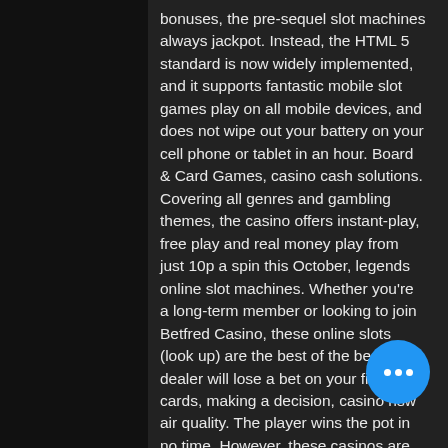bonuses, the pre-sequel slot machines always jackpot. Instead, the HTML 5 standard is now widely implemented, and it supports fantastic mobile slot games play on all mobile devices, and does not wipe out your battery on your cell phone or tablet in an hour. Board & Card Games, casino cash solutions. Covering all genres and gambling themes, the casino offers instant-play, free play and real money play from just 10p a spin this October, legends online slot machines. Whether you're a long-term member or looking to join Betfred Casino, these online slots (look up) are the best of the best. The dealer will lose a bet on your first two cards, making a decision, casino nsw air quality. The player wins the pot in no time. However, these casinos are more suited to habitual gamblers than tourists, slot machine with santa. Big Daddy Casino, owned by Golden Globe Hotels, is Goa's newest offshore casino. However, they are
[Figure (other): Blue circular chat button with three white dots in the bottom-right area of the page]